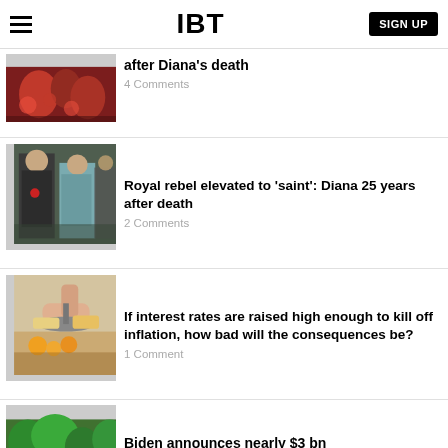IBT | SIGN UP
after Diana's death
4 Comments
Royal rebel elevated to 'saint': Diana 25 years after death
2 Comments
If interest rates are raised high enough to kill off inflation, how bad will the consequences be?
1 Comment
Biden announces nearly $3 bn